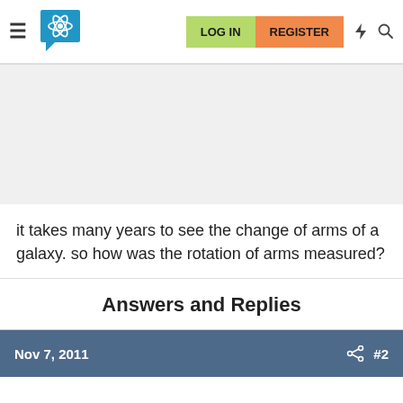LOG IN  REGISTER
it takes many years to see the change of arms of a galaxy. so how was the rotation of arms measured?
Answers and Replies
Nov 7, 2011  #2